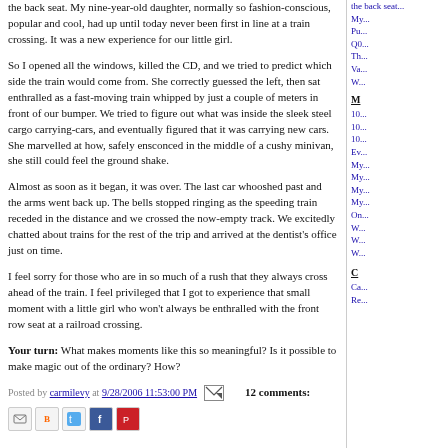the back seat. My nine-year-old daughter, normally so fashion-conscious, popular and cool, had up until today never been first in line at a train crossing. It was a new experience for our little girl.
So I opened all the windows, killed the CD, and we tried to predict which side the train would come from. She correctly guessed the left, then sat enthralled as a fast-moving train whipped by just a couple of meters in front of our bumper. We tried to figure out what was inside the sleek steel cargo carrying-cars, and eventually figured that it was carrying new cars. She marvelled at how, safely ensconced in the middle of a cushy minivan, she still could feel the ground shake.
Almost as soon as it began, it was over. The last car whooshed past and the arms went back up. The bells stopped ringing as the speeding train receded in the distance and we crossed the now-empty track. We excitedly chatted about trains for the rest of the trip and arrived at the dentist's office just on time.
I feel sorry for those who are in so much of a rush that they always cross ahead of the train. I feel privileged that I got to experience that small moment with a little girl who won't always be enthralled with the front row seat at a railroad crossing.
Your turn: What makes moments like this so meaningful? Is it possible to make magic out of the ordinary? How?
Posted by carmilevy at 9/28/2006 11:53:00 PM   12 comments: